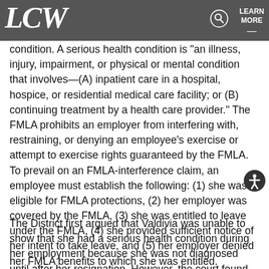LCW — LEARN MORE
condition. A serious health condition is "an illness, injury, impairment, or physical or mental condition that involves—(A) inpatient care in a hospital, hospice, or residential medical care facility; or (B) continuing treatment by a health care provider." The FMLA prohibits an employer from interfering with, restraining, or denying an employee's exercise or attempt to exercise rights guaranteed by the FMLA. To prevail on an FMLA-interference claim, an employee must establish the following: (1) she was eligible for FMLA protections, (2) her employer was covered by the FMLA, (3) she was entitled to leave under the FMLA, (4) she provided sufficient notice of her intent to take leave, and (5) her employer denied her FMLA benefits to which she was entitled.
The District first argued that Valdivia was unable to show that she had a serious health condition during her employment because she was not diagnosed until after her resignation. However, the court found that an